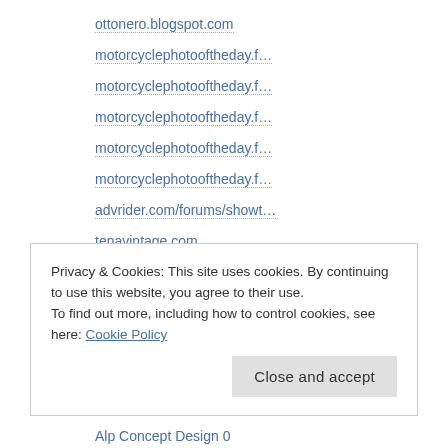ottonero.blogspot.com
motorcyclephotooftheday.f…
motorcyclephotooftheday.f…
motorcyclephotooftheday.f…
motorcyclephotooftheday.f…
motorcyclephotooftheday.f…
advrider.com/forums/showt…
tenavintage.com
Privacy & Cookies: This site uses cookies. By continuing to use this website, you agree to their use.
To find out more, including how to control cookies, see here: Cookie Policy
Close and accept
Alp Concept Design 0